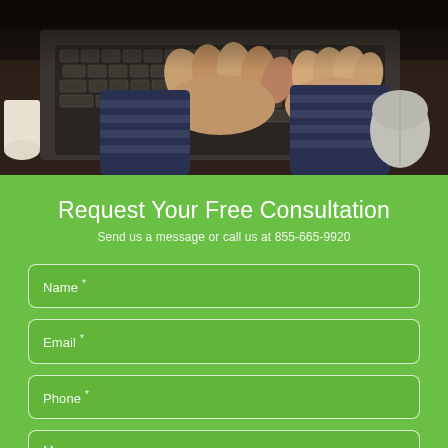[Figure (photo): Person's hands typing on a laptop keyboard, wearing a striped sleeve and gold bracelet, with a mouse visible in the background on a wooden surface]
Request Your Free Consultation
Send us a message or call us at 855-665-9920
Name *
Email *
Phone *
Message